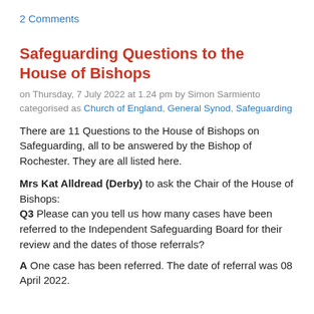2 Comments
Safeguarding Questions to the House of Bishops
on Thursday, 7 July 2022 at 1.24 pm by Simon Sarmiento categorised as Church of England, General Synod, Safeguarding
There are 11 Questions to the House of Bishops on Safeguarding, all to be answered by the Bishop of Rochester. They are all listed here.
Mrs Kat Alldread (Derby) to ask the Chair of the House of Bishops: Q3 Please can you tell us how many cases have been referred to the Independent Safeguarding Board for their review and the dates of those referrals?
A One case has been referred. The date of referral was 08 April 2022.